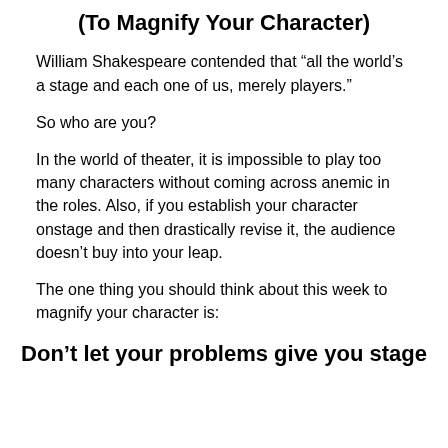(To Magnify Your Character)
William Shakespeare contended that “all the world’s a stage and each one of us, merely players.”
So who are you?
In the world of theater, it is impossible to play too many characters without coming across anemic in the roles. Also, if you establish your character onstage and then drastically revise it, the audience doesn’t buy into your leap.
The one thing you should think about this week to magnify your character is:
Don’t let your problems give you stage